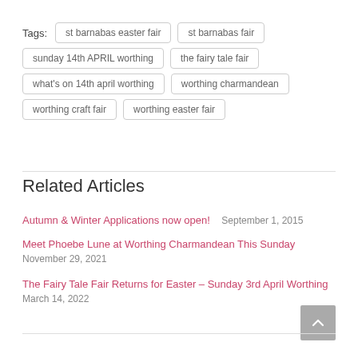Tags: st barnabas easter fair | st barnabas fair | sunday 14th APRIL worthing | the fairy tale fair | what's on 14th april worthing | worthing charmandean | worthing craft fair | worthing easter fair
Related Articles
Autumn & Winter Applications now open!  September 1, 2015
Meet Phoebe Lune at Worthing Charmandean This Sunday
November 29, 2021
The Fairy Tale Fair Returns for Easter – Sunday 3rd April Worthing
March 14, 2022